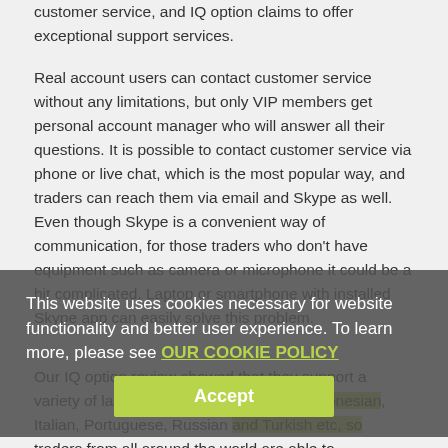customer service, and IQ option claims to offer exceptional support services.
Real account users can contact customer service without any limitations, but only VIP members get personal account manager who will answer all their questions. It is possible to contact customer service via phone or live chat, which is the most popular way, and traders can reach them via email and Skype as well. Even though Skype is a convenient way of communication, for those traders who don't have equipment such as camera or microphone it could be a bit complicated. Laptop or smartphone with installed Skype app can easily solve this problem.
This website uses cookies necessary for website functionality and better user experience. To learn more, please see OUR COOKIE POLICY
Accept
Our IQ option review showed that they support a variety of languages: English, Spanish, Indonesian, Italian, Portuguese, Russian and Turkish etc, so traders from all around the world are able to communicate with customer